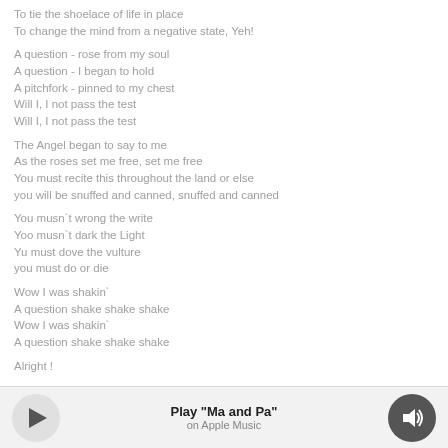To tie the shoelace of life in place
To change the mind from a negative state, Yeh!

A question - rose from my soul
A question - I began to hold
A pitchfork - pinned to my chest
Will I, I not pass the test
Will I, I not pass the test

The Angel began to say to me
As the roses set me free, set me free
You must recite this throughout the land or else
you will be snuffed and canned, snuffed and canned

You musn`t wrong the write
Yoo musn`t dark the Light
Yu must dove the vulture
you must do or die

Wow I was shakin`
A question shake shake shake
Wow I was shakin`
A question shake shake shake

Alright !
I LIKE TO HIDE BEHIND MY GLASSES
Play "Ma and Pa"
on Apple Music